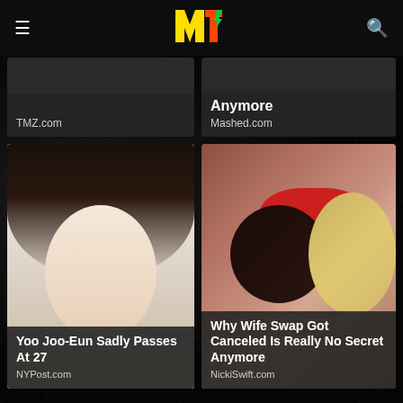MTV logo, hamburger menu, search icon
[Figure (screenshot): Partial card top-left, TMZ.com source]
[Figure (screenshot): Partial card top-right showing 'Anymore' headline, Mashed.com source]
[Figure (photo): Yoo Joo-Eun portrait photo]
Yoo Joo-Eun Sadly Passes At 27
NYPost.com
[Figure (photo): Two people kissing, one wearing red cap]
Why Wife Swap Got Canceled Is Really No Secret Anymore
NickiSwift.com